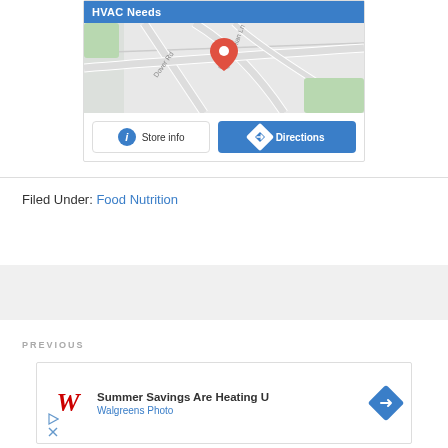[Figure (screenshot): Map card with blue header 'HVAC Needs', a Google Maps view showing a red pin on a street map, and two buttons: 'Store info' and 'Directions']
Filed Under: Food Nutrition
[Figure (screenshot): Gray advertisement band]
PREVIOUS
[Figure (screenshot): Previous article card with Walgreens logo, text 'Summer Savings Are Heating U' and 'Walgreens Photo', with a blue directions icon, and ad play/close icons at bottom left]